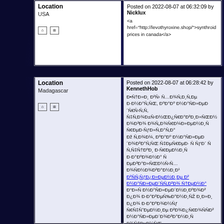Location
USA
Posted on 2022-08-07 at 06:32:09 by Nicklux
<a href="http://levothyroxine.shop/">synthroid prices in canada</a>
Location
Madagascar
Posted on 2022-08-07 at 06:28:42 by KennethHob
Ð•Ñ†Ð»Ð¸ Ð²Ñ‹ Ð²Ñ‡Ð±Ð±Ñ€Ð°Ð»Ð¸ Ñ†ÐŸÑ€Ð¸ Ð½Ð°ÑÐ»ÐµÐ´Ñ…